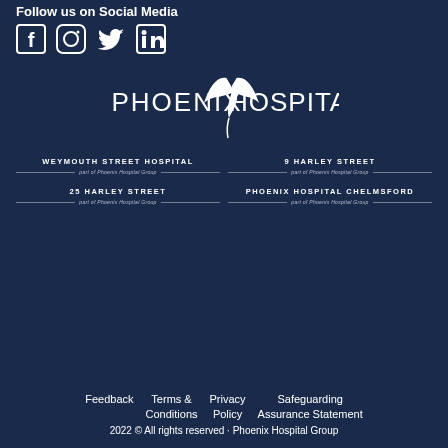Follow us on Social Media
[Figure (illustration): Social media icons: Facebook, Instagram, Twitter, LinkedIn]
[Figure (logo): Phoenix Hospital Group logo with bird/phoenix graphic]
[Figure (logo): Weymouth Street Hospital - part of Phoenix Hospital Group]
[Figure (logo): 9 Harley Street - part of Phoenix Hospital Group]
[Figure (logo): 25 Harley Street - part of Phoenix Hospital Group]
[Figure (logo): Phoenix Hospital Chelmsford - part of Phoenix Hospital Group]
Feedback   Terms & Conditions   Privacy Policy   Safeguarding Assurance Statement   2022 © All rights reserved · Phoenix Hospital Group